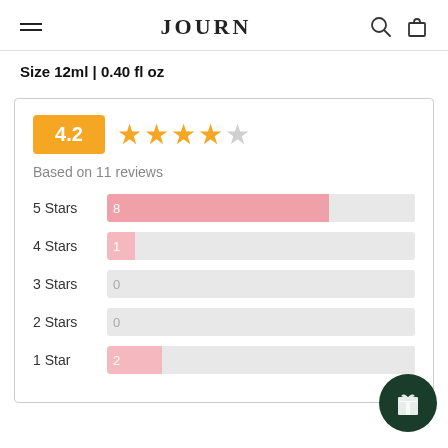JOURN
Size 12ml | 0.40 fl oz
[Figure (other): Review summary box showing 4.2 out of 5 stars rating badge, 4 filled stars and 1 half/empty star, text 'Based on 11 reviews', and horizontal bar chart showing: 5 Stars=8, 4 Stars=1, 3 Stars=0, 2 Stars=0, 1 Star=2]